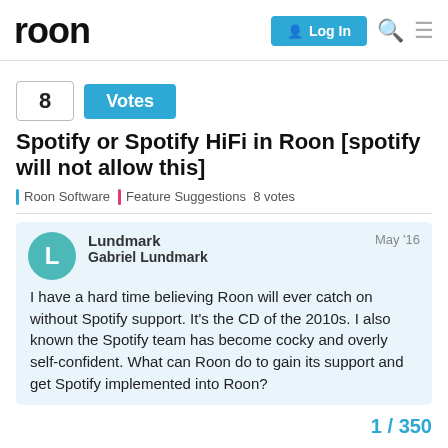roon | Log In
8 Votes
Spotify or Spotify HiFi in Roon [spotify will not allow this]
Roon Software | Feature Suggestions 8 votes
Lundmark Gabriel Lundmark May '16
I have a hard time believing Roon will ever catch on without Spotify support. It's the CD of the 2010s. I also known the Spotify team has become cocky and overly self-confident. What can Roon do to gain its support and get Spotify implemented into Roon?
1 / 350